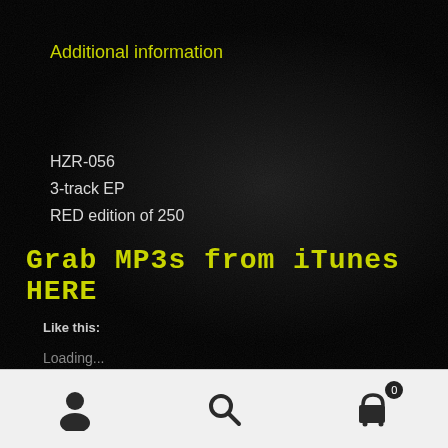Additional information
HZR-056
3-track EP
RED edition of 250
Grab MP3s from iTunes HERE
Like this:
Loading...
[Figure (infographic): Bottom navigation bar with user icon, search icon, and shopping cart icon with badge showing 0]